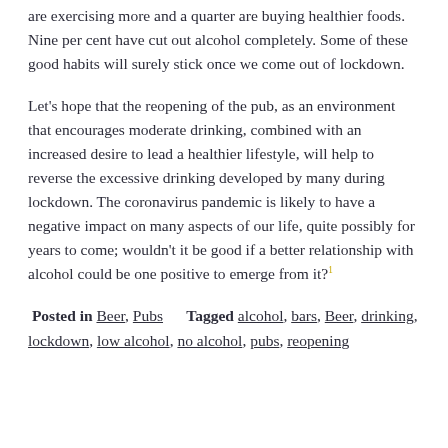are exercising more and a quarter are buying healthier foods. Nine per cent have cut out alcohol completely. Some of these good habits will surely stick once we come out of lockdown.
Let's hope that the reopening of the pub, as an environment that encourages moderate drinking, combined with an increased desire to lead a healthier lifestyle, will help to reverse the excessive drinking developed by many during lockdown. The coronavirus pandemic is likely to have a negative impact on many aspects of our life, quite possibly for years to come; wouldn't it be good if a better relationship with alcohol could be one positive to emerge from it?
Posted in Beer, Pubs   Tagged alcohol, bars, Beer, drinking, lockdown, low alcohol, no alcohol, pubs, reopening